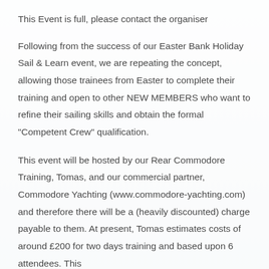This Event is full, please contact the organiser
Following from the success of our Easter Bank Holiday Sail & Learn event, we are repeating the concept, allowing those trainees from Easter to complete their training and open to other NEW MEMBERS who want to refine their sailing skills and obtain the formal "Competent Crew" qualification.
This event will be hosted by our Rear Commodore Training, Tomas, and our commercial partner, Commodore Yachting (www.commodore-yachting.com) and therefore there will be a (heavily discounted) charge payable to them. At present, Tomas estimates costs of around £200 for two days training and based upon 6 attendees. This